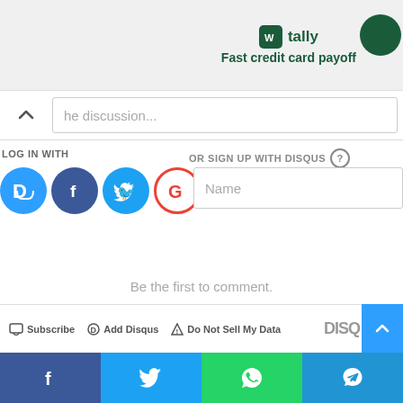[Figure (screenshot): Tally app advertisement banner with logo and tagline 'Fast credit card payoff']
Start the discussion...
LOG IN WITH
OR SIGN UP WITH DISQUS ?
Name
Be the first to comment.
Subscribe  Add Disqus  Do Not Sell My Data  DISQ
[Figure (screenshot): Social media share bar with Facebook, Twitter, WhatsApp, and Telegram buttons]